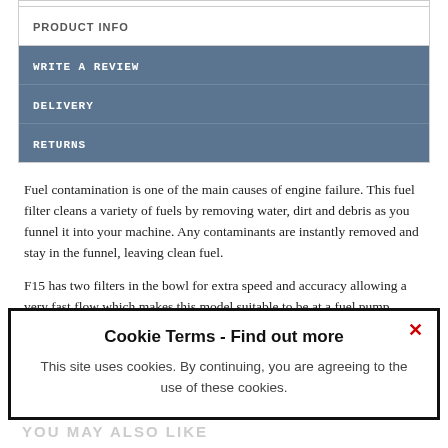PRODUCT INFO
WRITE A REVIEW
DELIVERY
RETURNS
Fuel contamination is one of the main causes of engine failure. This fuel filter cleans a variety of fuels by removing water, dirt and debris as you funnel it into your machine. Any contaminants are instantly removed and stay in the funnel, leaving clean fuel.
F15 has two filters in the bowl for extra speed and accuracy allowing a very fast flow which makes this model suitable to be at a fuel pump.
The funnel ... helps static discharge safely without causing any sparks.
Cookie Terms - Find out more
This site uses cookies. By continuing, you are agreeing to the use of these cookies.
YOU MAY ALSO LIKE